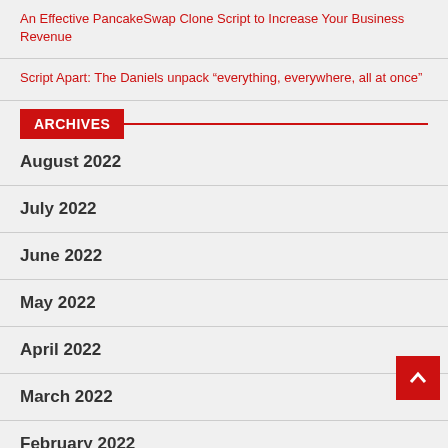An Effective PancakeSwap Clone Script to Increase Your Business Revenue
Script Apart: The Daniels unpack “everything, everywhere, all at once”
ARCHIVES
August 2022
July 2022
June 2022
May 2022
April 2022
March 2022
February 2022
January 2022